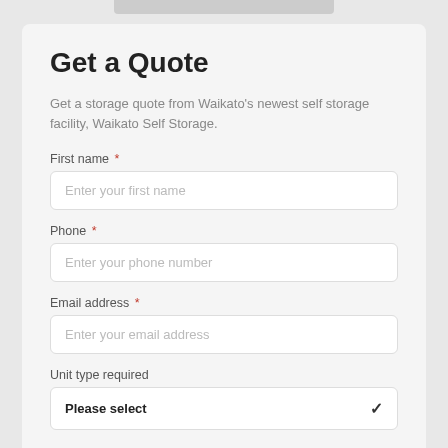Get a Quote
Get a storage quote from Waikato's newest self storage facility, Waikato Self Storage.
First name *
Enter your first name
Phone *
Enter your phone number
Email address *
Enter your email address
Unit type required
Please select